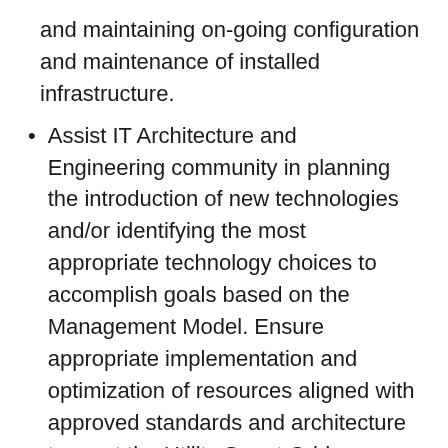and maintaining on-going configuration and maintenance of installed infrastructure.
Assist IT Architecture and Engineering community in planning the introduction of new technologies and/or identifying the most appropriate technology choices to accomplish goals based on the Management Model. Ensure appropriate implementation and optimization of resources aligned with approved standards and architecture to meet the Utility Smart Grid application requirements.
Maintain strong relationship working with the Utility business implementing the fiber construction project and on-going maintenance of fiber infrastructure. Interfacing with and managing vendor